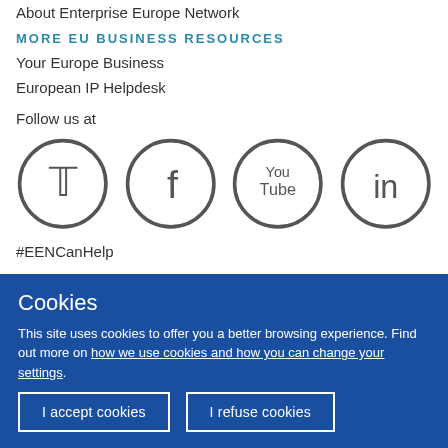About Enterprise Europe Network
MORE EU BUSINESS RESOURCES
Your Europe Business
European IP Helpdesk
Follow us at
[Figure (illustration): Four social media icons in circles: Twitter, Facebook, YouTube, LinkedIn]
#EENCanHelp
Cookies
This site uses cookies to offer you a better browsing experience. Find out more on how we use cookies and how you can change your settings.
I accept cookies | I refuse cookies